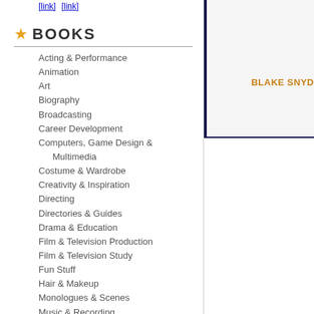★ BOOKS
Acting & Performance
Animation
Art
Biography
Broadcasting
Career Development
Computers, Game Design & Multimedia
Costume & Wardrobe
Creativity & Inspiration
Directing
Directories & Guides
Drama & Education
Film & Television Production
Film & Television Study
Fun Stuff
Hair & Makeup
Monologues & Scenes
Music & Recording
Photography
Plays
Producing
Publicity, Promotion, and Marketing
Screenplays
[Figure (illustration): Book cover image area with navy blue border, showing BLAKE SNYD... author name in orange/gold]
View Larger Ima...
Save the C...
About the Book:
The Last Book on Screenwriting Y...
Blake Snyder made millions of dolla... you understand the underpinnings o... understand the basic structure of Ho... read Save The Cat? Because "high ... more viewers.
In Save the Cat! one of Hollywood's... knows about how to craft a sellable ... inside the movie business. A "save t... see our hero do something nice tha... It's important to have it because you... your protagonist. Save The Cat will ... Dramatic Writing and Screenplay. ... "high concept" really is and how to m...
Save the Cat! is just one of many i... script more satisfying and saleable,...
• The four elements of every winning...
• The seven immutable laws of scr...